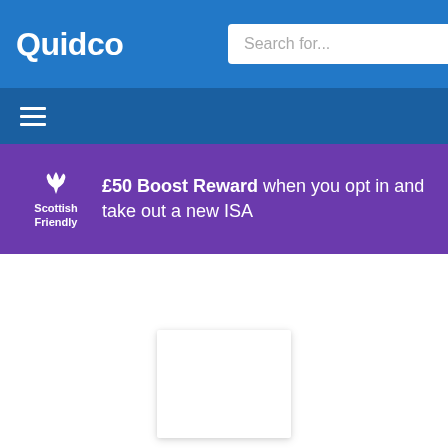Quidco
[Figure (screenshot): Quidco website header with logo on left and search bar on right against blue background]
[Figure (screenshot): Navigation bar with hamburger menu icon on dark blue background]
[Figure (screenshot): Scottish Friendly promotional banner: £50 Boost Reward when you opt in and take out a new ISA]
[Figure (other): White card placeholder box in content area]